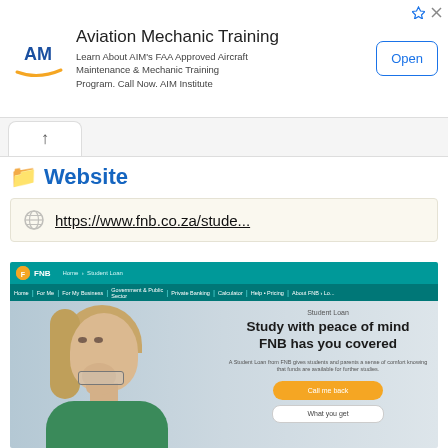[Figure (screenshot): Advertisement banner for Aviation Mechanic Training by AIM Institute. Shows AIM logo, title 'Aviation Mechanic Training', body text 'Learn About AIM’s FAA Approved Aircraft Maintenance & Mechanic Training Program. Call Now. AIM Institute', and an 'Open' button.]
Website
https://www.fnb.co.za/stude...
[Figure (screenshot): Screenshot of FNB (First National Bank) website Student Loan page. Shows teal navigation bar with FNB logo and breadcrumb 'Home > Student Loan', menu items including Home, For Me, For My Business, Government & Public Sector, Private Banking, Calculator, Help & Pricing, About FNB. Hero section shows a blonde woman studying, with headline 'Study with peace of mind FNB has you covered', subtitle 'Student Loan', description text, an orange 'Call me back' button, and a white 'What you get' button.]